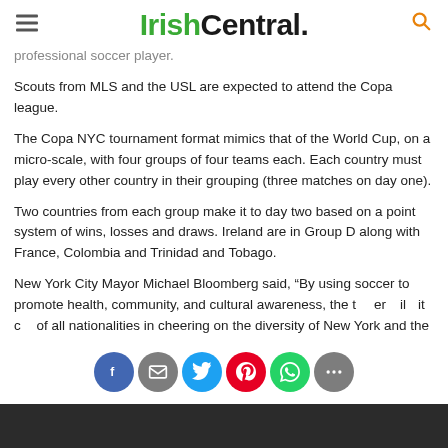IrishCentral.
professional soccer player.
Scouts from MLS and the USL are expected to attend the Copa league.
The Copa NYC tournament format mimics that of the World Cup, on a micro-scale, with four groups of four teams each. Each country must play every other country in their grouping (three matches on day one).
Two countries from each group make it to day two based on a point system of wins, losses and draws. Ireland are in Group D along with France, Colombia and Trinidad and Tobago.
New York City Mayor Michael Bloomberg said, “By using soccer to promote health, community, and cultural awareness, the t[...]er[...]il[...]it c[...] of all nationalities in cheering on the diversity of New York and the